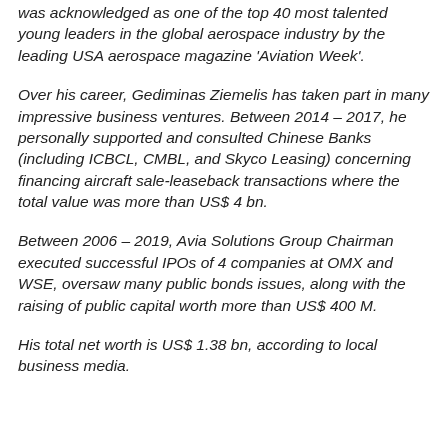was acknowledged as one of the top 40 most talented young leaders in the global aerospace industry by the leading USA aerospace magazine 'Aviation Week'.
Over his career, Gediminas Ziemelis has taken part in many impressive business ventures. Between 2014 – 2017, he personally supported and consulted Chinese Banks (including ICBCL, CMBL, and Skyco Leasing) concerning financing aircraft sale-leaseback transactions where the total value was more than US$ 4 bn.
Between 2006 – 2019, Avia Solutions Group Chairman executed successful IPOs of 4 companies at OMX and WSE, oversaw many public bonds issues, along with the raising of public capital worth more than US$ 400 M.
His total net worth is US$ 1.38 bn, according to local business media.